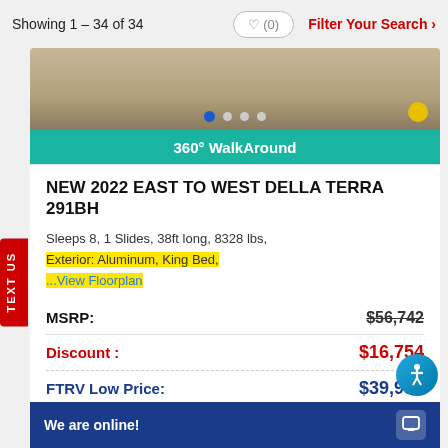Showing 1 – 34 of 34
[Figure (photo): Interior/floor photo of RV with image carousel dots at bottom]
360° WalkAround
NEW 2022 EAST TO WEST DELLA TERRA 291BH
Sleeps 8, 1 Slides, 38ft long, 8328 lbs, Exterior: Aluminum, King Bed, ...View Floorplan
| Label | Value |
| --- | --- |
| MSRP: | $56,742 |
| Discount: | $16,754 |
| FTRV Low Price: | $39,988 |
FROM: $287/mo
We are online!